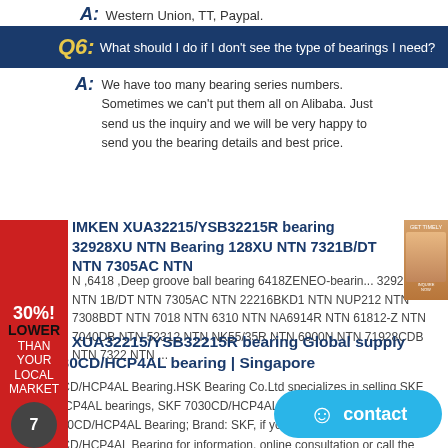A: Western Union, TT, Paypal.
Q6: What should I do if I don't see the type of bearings I need?
A: We have too many bearing series numbers. Sometimes we can't put them all on Alibaba. Just send us the inquiry and we will be very happy to send you the bearing details and best price.
TIMKEN XUA32215/YSB32215R bearing 32928XU NTN Bearing 328XU NTN 7321B/DT NTN 7305AC NTN
N ,6418 ,Deep groove ball bearing 6418ZENEO-bearin... 32928XU NTN 1B/DT NTN 7305AC NTN 22216BKD1 NTN NUP212 NTN 7308BDT NTN 7018 NTN 6310 NTN NA6914R NTN 61812-Z NTN 7040DB NTN 52312 NTN NK55/35R NTN 6900N NTN 71928CDB NTN 7322 NTN ...
TIMKEN XUA32215/YSB32215R bearing Global supply SKF 7030CD/HCP4AL bearing | Singapore
SKF 7030CD/HCP4AL Bearing.HSK Bearing Co.Ltd specializes in selling SKF 7030CD/HCP4AL bearings, SKF 7030CD/HCP4AL bearing related information: Model: 7030CD/HCP4AL Bearing; Brand: SKF, if you want to know more about SKF 7030CD/HCP4AL Bearing for information, online consultation or call the hotline and email us [email...] serve you in detail.